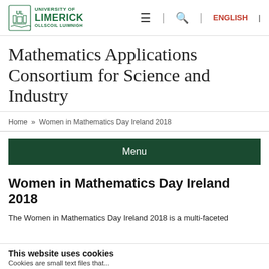University of Limerick | Ollscoil Luimnigh
Mathematics Applications Consortium for Science and Industry
Home » Women in Mathematics Day Ireland 2018
Menu
Women in Mathematics Day Ireland 2018
The Women in Mathematics Day Ireland 2018 is a multi-faceted
This website uses cookies
Cookies are small text files that...